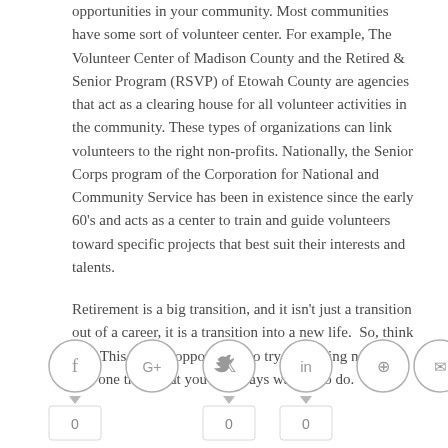opportunities in your community. Most communities have some sort of volunteer center. For example, The Volunteer Center of Madison County and the Retired & Senior Program (RSVP) of Etowah County are agencies that act as a clearing house for all volunteer activities in the community. These types of organizations can link volunteers to the right non-profits. Nationally, the Senior Corps program of the Corporation for National and Community Service has been in existence since the early 60's and acts as a center to train and guide volunteers toward specific projects that best suit their interests and talents.
Retirement is a big transition, and it isn't just a transition out of a career, it is a transition into a new life. So, think big! This is your opportunity to try something new or that one thing that you've always wanted to do.
[Figure (other): Social sharing buttons: Facebook, Google+, Twitter, LinkedIn, Pinterest, Email — each in a circle. Below some buttons are share count boxes showing 0.]